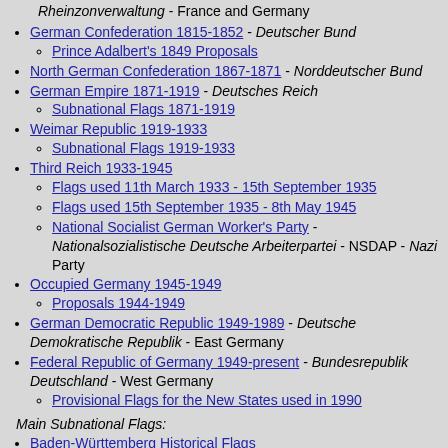Rheinzonverwaltung - France and Germany
German Confederation 1815-1852 - Deutscher Bund
Prince Adalbert's 1849 Proposals
North German Confederation 1867-1871 - Norddeutscher Bund
German Empire 1871-1919 - Deutsches Reich
Subnational Flags 1871-1919
Weimar Republic 1919-1933
Subnational Flags 1919-1933
Third Reich 1933-1945
Flags used 11th March 1933 - 15th September 1935
Flags used 15th September 1935 - 8th May 1945
National Socialist German Worker's Party - Nationalsozialistische Deutsche Arbeiterpartei - NSDAP - Nazi Party
Occupied Germany 1945-1949
Proposals 1944-1949
German Democratic Republic 1949-1989 - Deutsche Demokratische Republik - East Germany
Federal Republic of Germany 1949-present - Bundesrepublik Deutschland - West Germany
Provisional Flags for the New States used in 1990
Main Subnational Flags:
Baden-Württemberg Historical Flags